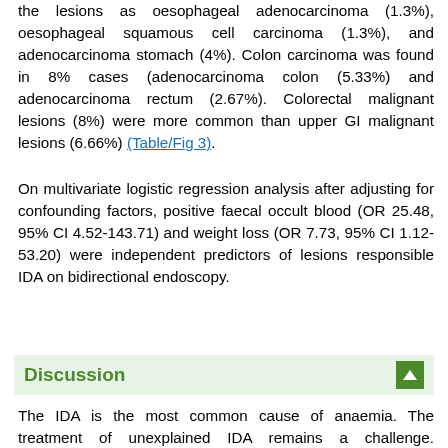the lesions as oesophageal adenocarcinoma (1.3%), oesophageal squamous cell carcinoma (1.3%), and adenocarcinoma stomach (4%). Colon carcinoma was found in 8% cases (adenocarcinoma colon (5.33%) and adenocarcinoma rectum (2.67%). Colorectal malignant lesions (8%) were more common than upper GI malignant lesions (6.66%) (Table/Fig 3).
On multivariate logistic regression analysis after adjusting for confounding factors, positive faecal occult blood (OR 25.48, 95% CI 4.52-143.71) and weight loss (OR 7.73, 95% CI 1.12-53.20) were independent predictors of lesions responsible IDA on bidirectional endoscopy.
Discussion
The IDA is the most common cause of anaemia. The treatment of unexplained IDA remains a challenge. Bidirectional GI endoscopy may help to elucidate the cause of unexplained IDA as it could be due to occult GI blood loss or other GI lesions. There are relatively few research studies on the bidirectional endoscopy findings in unexplained